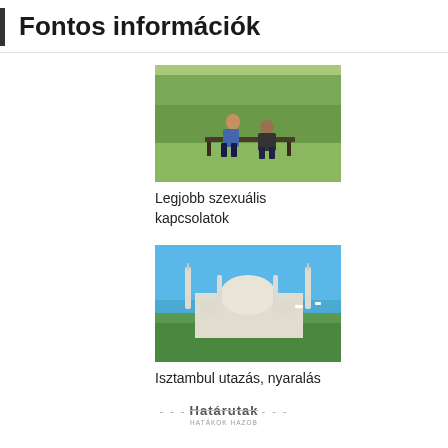Fontos információk
[Figure (photo): Two people sitting on a park bench, appearing to be in an argument or emotional conversation, outdoors with trees in the background.]
Legjobb szexuális kapcsolatok
[Figure (photo): View of Istanbul with a large mosque (Blue Mosque) with multiple minarets, sea in the background, green trees in the foreground.]
Isztambul utazás, nyaralás
[Figure (logo): Határutak logo with dashed lines on either side and small subtitle text below]